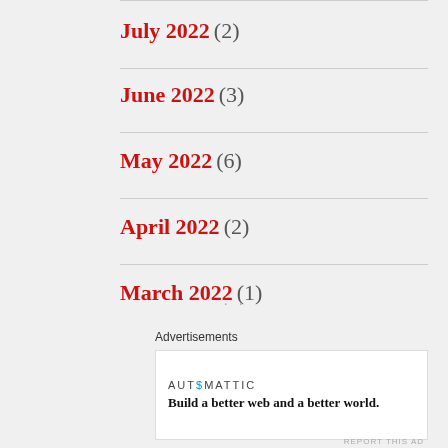July 2022 (2)
June 2022 (3)
May 2022 (6)
April 2022 (2)
March 2022 (1)
Advertisements
AUTOMATTIC
Build a better web and a better world.